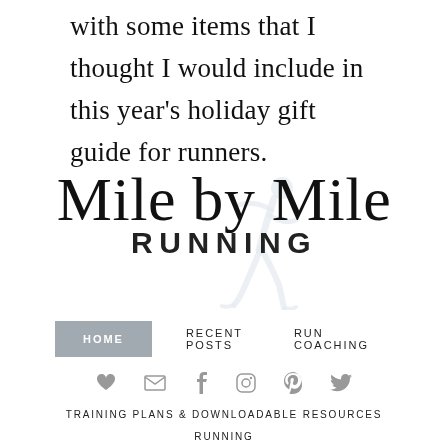with some items that I thought I would include in this year's holiday gift guide for runners.
[Figure (logo): Mile by Mile Running logo with script text 'Mile by Mile' and block text 'RUNNING' with a runner silhouette figure behind the text]
HOME   RECENT POSTS   RUN COACHING
[Figure (infographic): Social media icons row: heart, email/envelope, facebook, instagram, pinterest, twitter]
TRAINING PLANS & DOWNLOADABLE RESOURCES
RUNNING